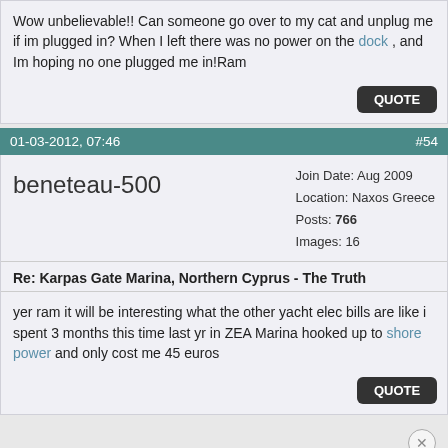Wow unbelievable!! Can someone go over to my cat and unplug me if im plugged in? When I left there was no power on the dock , and Im hoping no one plugged me in!Ram
QUOTE
01-03-2012, 07:46   #54
beneteau-500
Join Date: Aug 2009
Location: Naxos Greece
Posts: 766
Images: 16
Re: Karpas Gate Marina, Northern Cyprus - The Truth
yer ram it will be interesting what the other yacht elec bills are like i spent 3 months this time last yr in ZEA Marina hooked up to shore power and only cost me 45 euros
QUOTE